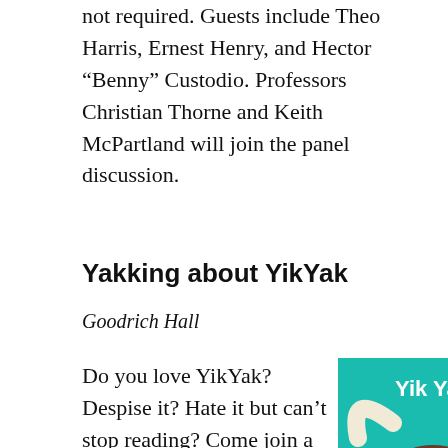not required. Guests include Theo Harris, Ernest Henry, and Hector “Benny” Custodio. Professors Christian Thorne and Keith McPartland will join the panel discussion.
Yakking about YikYak
Goodrich Hall
Do you love YikYak? Despise it? Hate it but can’t stop reading? Come join a student-led
[Figure (illustration): YikYak app logo on a teal background showing a cartoon brown yak with large white horns and the text 'Yik Yak' in white bold letters at the top.]